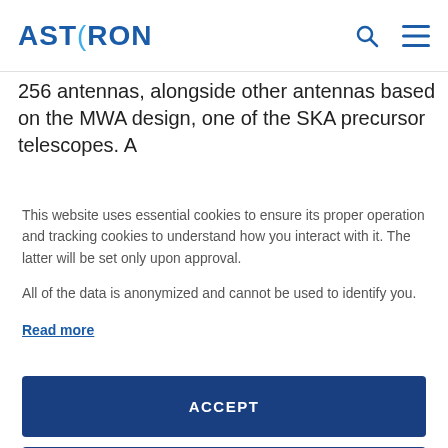ASTRON
256 antennas, alongside other antennas based on the MWA design, one of the SKA precursor telescopes. A
This website uses essential cookies to ensure its proper operation and tracking cookies to understand how you interact with it. The latter will be set only upon approval.

All of the data is anonymized and cannot be used to identify you.
Read more
ACCEPT
SETTINGS